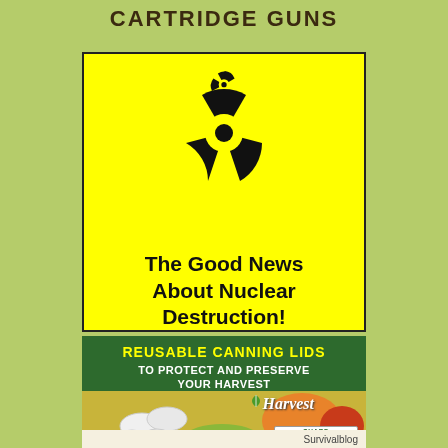CARTRIDGE GUNS
[Figure (illustration): Yellow square with black radioactive hazard symbol (trefoil) and bold text reading 'The Good News About Nuclear Destruction!']
[Figure (illustration): Green banner advertisement for Reusable Canning Lids with text 'REUSABLE CANNING LIDS TO PROTECT AND PRESERVE YOUR HARVEST', Harvest Guard branding, and photo of canning lids with fruits and vegetables]